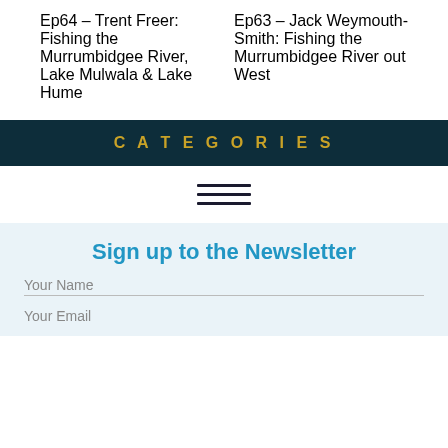Ep64 – Trent Freer: Fishing the Murrumbidgee River, Lake Mulwala & Lake Hume
Ep63 – Jack Weymouth-Smith: Fishing the Murrumbidgee River out West
CATEGORIES
[Figure (other): Hamburger menu icon with three horizontal lines]
Sign up to the Newsletter
Your Name
Your Email